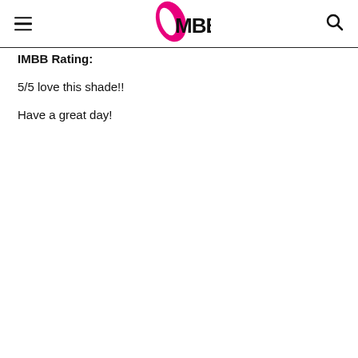IMBB
IMBB Rating:
5/5 love this shade!!
Have a great day!